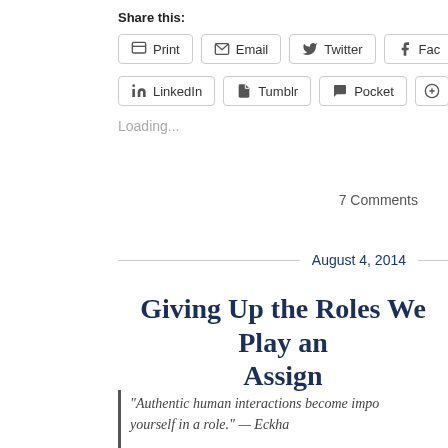Share this:
Print | Email | Twitter | Facebook
LinkedIn | Tumblr | Pocket
Loading...
7 Comments
August 4, 2014
Giving Up the Roles We Play and Assign
“Authentic human interactions become impossible when you lose yourself in a role.”  — Eckha